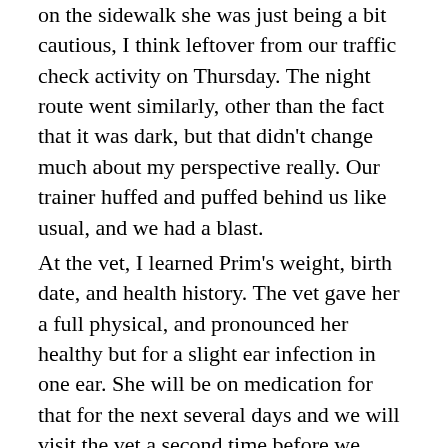on the sidewalk  she was just being a bit cautious, I think leftover from our traffic check activity on Thursday.  The night route went similarly, other than the fact that it was dark, but that didn't change much about my perspective really.  Our trainer huffed and puffed behind us like usual, and we had a blast.
At the vet, I learned Prim's weight, birth date, and health history.  The vet gave her a full physical, and pronounced her healthy but for a slight ear infection in one ear.  She will be on medication for that for the next several days and we will visit the vet a second time before we leave to make sure it is all cleared up... which reminds me.  I need to choose a vet for Prim in Nashville.  If anyone has any good recommendations, please let me know.  Oleta had a vet in Nashville that we loved and appreciated, but I would be interested in looking